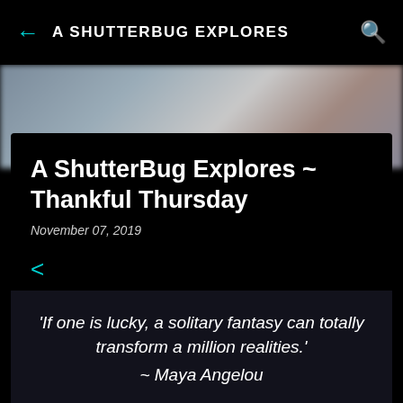A SHUTTERBUG EXPLORES
[Figure (screenshot): Blurred background image of a muted landscape/scene used as header photo behind the article card]
A ShutterBug Explores ~ Thankful Thursday
November 07, 2019
'If one is lucky, a solitary fantasy can totally transform a million realities.' ~ Maya Angelou